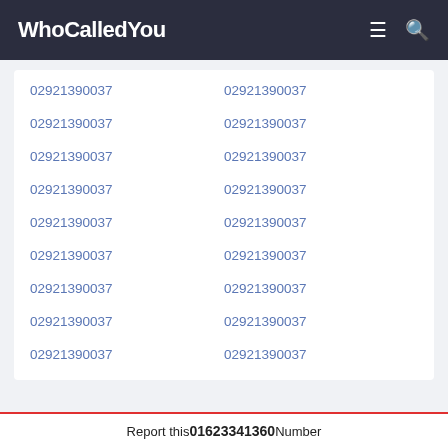WhoCalledYou
02921390037
02921390037
02921390037
02921390037
02921390037
02921390037
02921390037
02921390037
02921390037
02921390037
02921390037
02921390037
02921390037
02921390037
02921390037
02921390037
02921390037
02921390037
Report this 01623341360 Number